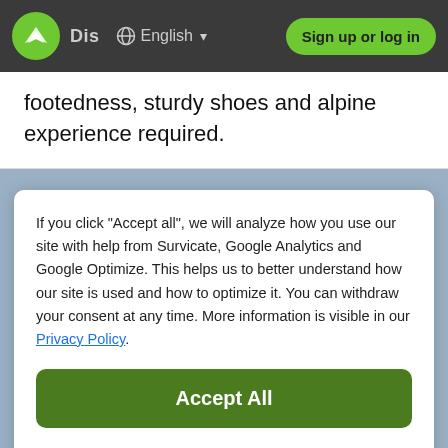[Figure (screenshot): Navigation bar with green logo, Dis text, globe icon, English language selector with dropdown arrow, and green Sign up or log in button]
footedness, sturdy shoes and alpine experience required.
If you click "Accept all", we will analyze how you use our site with help from Survicate, Google Analytics and Google Optimize. This helps us to better understand how our site is used and how to optimize it. You can withdraw your consent at any time. More information is visible in our Privacy Policy.
Accept All
Decline
Details